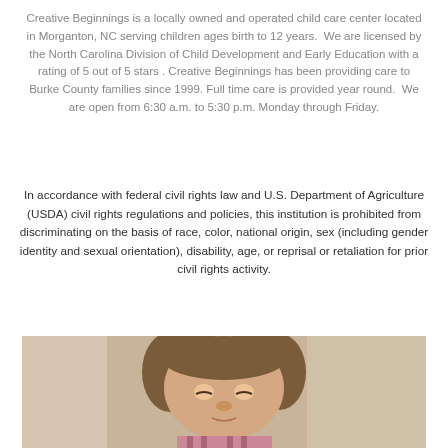Creative Beginnings is a locally owned and operated child care center located in Morganton, NC serving children ages birth to 12 years.  We are licensed by the North Carolina Division of Child Development and Early Education with a rating of 5 out of 5 stars .  Creative Beginnings has been providing care to Burke County families since 1999. Full time care is provided year round.  We are open from 6:30 a.m. to 5:30 p.m. Monday through Friday.
In accordance with federal civil rights law and U.S. Department of Agriculture (USDA) civil rights regulations and policies, this institution is prohibited from discriminating on the basis of race, color, national origin, sex (including gender identity and sexual orientation), disability, age, or reprisal or retaliation for prior civil rights activity.
[Figure (photo): Photo of a young child (toddler girl with brown hair) looking down, appearing to work on an activity. Warm-toned background.]